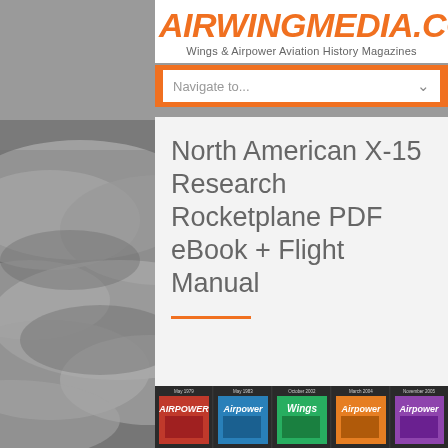[Figure (photo): Grayscale aerial photograph of clouds viewed from above, serving as background]
AIRWINGMEDIA.COM
Wings & Airpower Aviation History Magazines
Navigate to...
North American X-15 Research Rocketplane PDF eBook + Flight Manual
[Figure (photo): Strip of five aviation magazine covers: Airpower May 1979, Airpower May 1983, Wings October 2002, Airpower March 2004, Airpower November 2005]